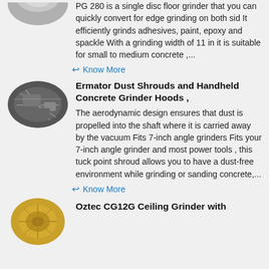[Figure (photo): Oval image of a floor grinder (partially visible at top)]
PG 280 is a single disc floor grinder that you can quickly convert for edge grinding on both sid It efficiently grinds adhesives, paint, epoxy and spackle With a grinding width of 11 in it is suitable for small to medium concrete ,...
← Know More
[Figure (photo): Oval image of construction equipment or grinder in use, black and white/grey tones]
Ermator Dust Shrouds and Handheld Concrete Grinder Hoods ,
The aerodynamic design ensures that dust is propelled into the shaft where it is carried away by the vacuum Fits 7-inch angle grinders Fits your 7-inch angle grinder and most power tools , this tuck point shroud allows you to have a dust-free environment while grinding or sanding concrete,...
← Know More
[Figure (photo): Circular gold/bronze colored grinder disc, partially visible at bottom]
Oztec CG12G Ceiling Grinder with